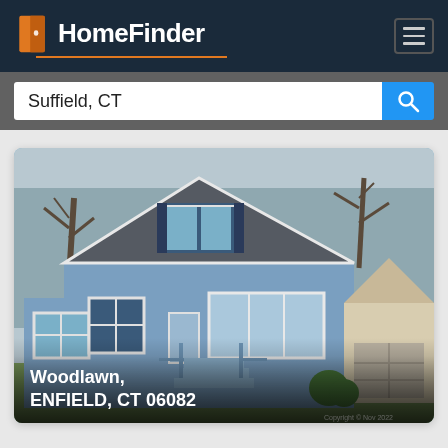HomeFinder
Suffield, CT
[Figure (photo): Exterior photo of a blue single-family house with a peaked roof, front porch with stairs, and a detached garage/neighbor house visible on the right. Bare trees in background. Text overlay: 'Woodlawn, ENFIELD, CT 06082']
Woodlawn, ENFIELD, CT 06082